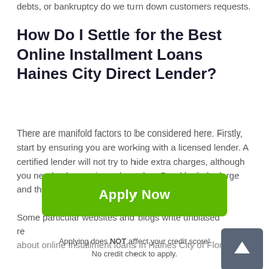debts, or bankruptcy do we turn down customers requests.
How Do I Settle for the Best Online Installment Loans Haines City Direct Lender?
There are manifold factors to be considered here. Firstly, start by ensuring you are working with a licensed lender. A certified lender will not try to hide extra charges, although you need to be cautious about that. Read both the large and the small print meticulously.
Some particular websites and blogs write unbiased reviews about online Installment loans in Haines City of Florida.
[Figure (other): Scroll-to-top button with upward arrow on dark grey background]
[Figure (other): Green Apply Now button]
Applying does NOT affect your credit score!
No credit check to apply.